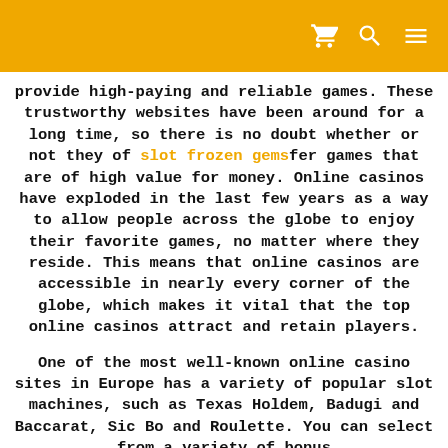provide high-paying and reliable games. These trustworthy websites have been around for a long time, so there is no doubt whether or not they of slot frozen gemsfer games that are of high value for money. Online casinos have exploded in the last few years as a way to allow people across the globe to enjoy their favorite games, no matter where they reside. This means that online casinos are accessible in nearly every corner of the globe, which makes it vital that the top online casinos attract and retain players.
One of the most well-known online casino sites in Europe has a variety of popular slot machines, such as Texas Holdem, Badugi and Baccarat, Sic Bo and Roulette. You can select from a variety of bonus...